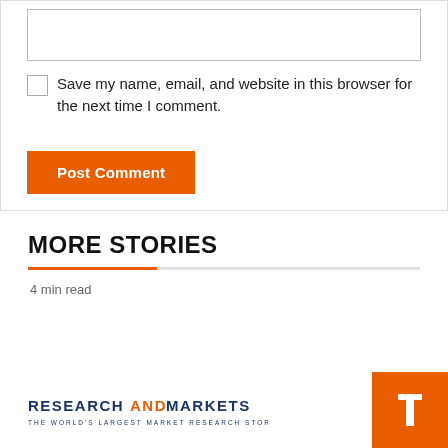[Figure (screenshot): A web form text input box (empty, white background with border)]
Save my name, email, and website in this browser for the next time I comment.
Post Comment
MORE STORIES
4 min read
[Figure (logo): Research and Markets logo — 'RESEARCH AND MARKETS / THE WORLD'S LARGEST MARKET RESEARCH STORE']
[Figure (other): Orange square button with a white navigation arrow icon]